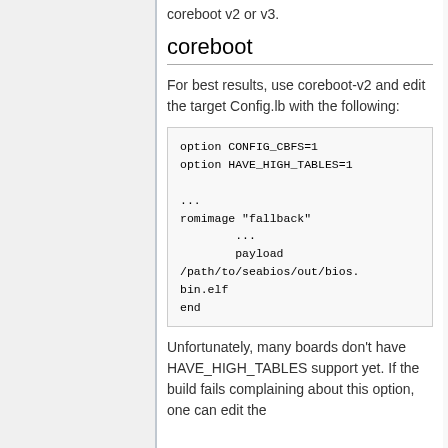coreboot v2 or v3.
coreboot
For best results, use coreboot-v2 and edit the target Config.lb with the following:
option CONFIG_CBFS=1
option HAVE_HIGH_TABLES=1
...
romimage "fallback"
        ...
        payload /path/to/seabios/out/bios.bin.elf
end
Unfortunately, many boards don't have HAVE_HIGH_TABLES support yet. If the build fails complaining about this option, one can edit the